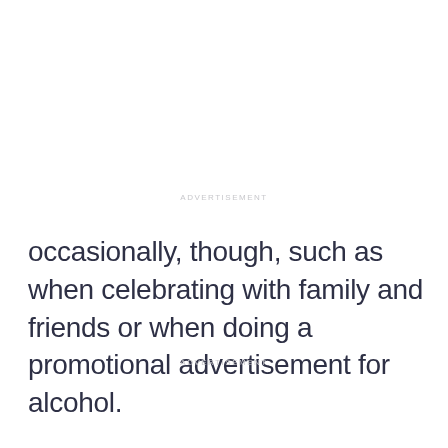ADVERTISEMENT
occasionally, though, such as when celebrating with family and friends or when doing a promotional advertisement for alcohol.
ADVERTISEMENT